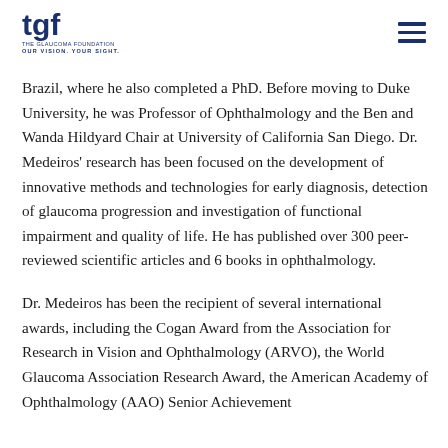tgf — THE GLAUCOMA FOUNDATION | OUR VISION. YOUR SIGHT.
Brazil, where he also completed a PhD. Before moving to Duke University, he was Professor of Ophthalmology and the Ben and Wanda Hildyard Chair at University of California San Diego. Dr. Medeiros' research has been focused on the development of innovative methods and technologies for early diagnosis, detection of glaucoma progression and investigation of functional impairment and quality of life. He has published over 300 peer-reviewed scientific articles and 6 books in ophthalmology.
Dr. Medeiros has been the recipient of several international awards, including the Cogan Award from the Association for Research in Vision and Ophthalmology (ARVO), the World Glaucoma Association Research Award, the American Academy of Ophthalmology (AAO) Senior Achievement